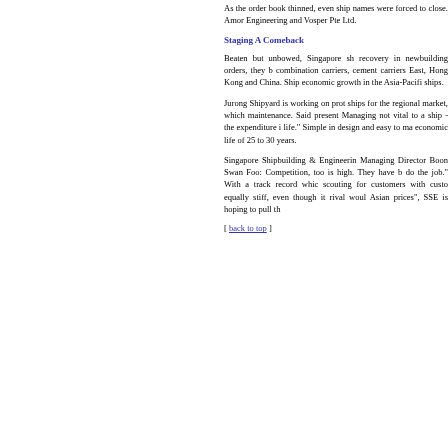As the order book thinned, even shipyard names were forced to close. Among them were Engineering and Vosper Pte Ltd.
Staging A Comeback
Beaten but unbowed, Singapore shipyards recovery in newbuilding orders, they built combination carriers, cement carriers East, Hong Kong and China. Shipyard economic growth in the Asia-Pacific ships.
Jurong Shipyard is working on prototype ships for the regional market, which maintenance. Said present Managing not vital to a ship - the expenditure it life." Simple in design and easy to maintain economic life of 25 to 30 years.
Singapore Shipbuilding & Engineering Managing Director Boon Swan Foo: Competition, too is high. They have been do the job." With a track record which scouting for customers with custom equally stiff, even though it rival would Asian prices", SSE is hoping to pull th
[ back to top ]